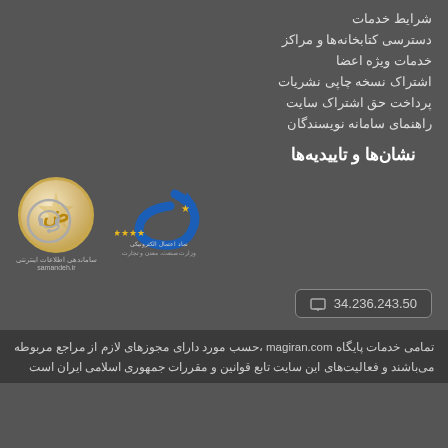شرایط خدمات
دسترسی کتابخانه‌ها و مراکز
خدمات ویژه اعضا
اشتراک نسخه چاپی نشریات
پرداخت حق اشتراک سایت
راهنمای سامانه نویسندگان
نشان‌ها و تاییدیه‌ها
[Figure (logo): Two certification badges: a golden Samandehi badge with Persian text and samandeh.ir URL, and a blue electronic services badge with Persian text]
34.236.243.50
تمامی خدمات پایگاه magiran.com ،حسب مورد دارای مجوزهای لازم از مراجع مربوطه می‌باشند و فعالیت‌های این سایت تابع قوانین و مقررات جمهوری اسلامی ایران است